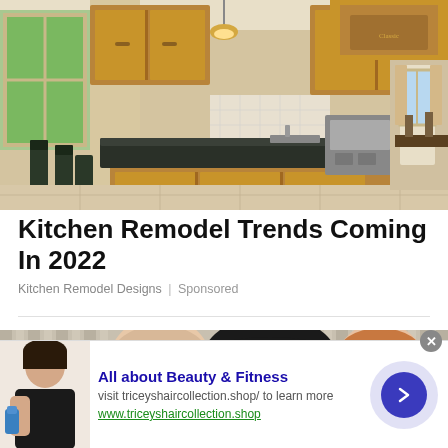[Figure (photo): Interior photo of a remodeled kitchen with dark granite island countertop, wooden cabinets, pendant lighting, stainless steel appliances, and light tile flooring. View extends to a dining area and another room in the background.]
Kitchen Remodel Trends Coming In 2022
Kitchen Remodel Designs | Sponsored
[Figure (photo): Partial photo showing two men in formal attire, a bald older man on the left and a younger red-haired man on the right, with a large hat or busby in the center, in front of draped curtains.]
[Figure (photo): Advertisement banner with a woman holding a water bottle on the left, and text 'All about Beauty & Fitness' with URL www.triceyshaircollection.shop, plus a blue arrow button on the right.]